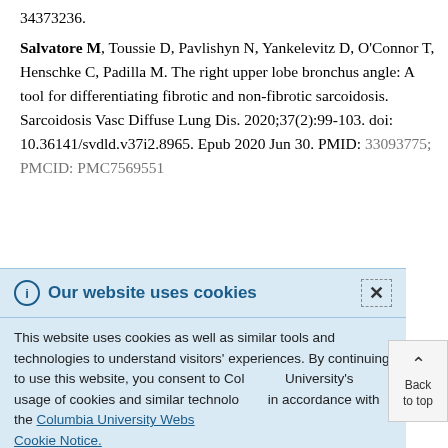34373236.
Salvatore M, Toussie D, Pavlishyn N, Yankelevitz D, O'Connor T, Henschke C, Padilla M. The right upper lobe bronchus angle: A tool for differentiating fibrotic and non-fibrotic sarcoidosis. Sarcoidosis Vasc Diffuse Lung Dis. 2020;37(2):99-103. doi: 10.36141/svdld.v37i2.8965. Epub 2020 Jun 30. PMID: 33093775; PMCID: PMC7569551
Our website uses cookies
This website uses cookies as well as similar tools and technologies to understand visitors' experiences. By continuing to use this website, you consent to Columbia University's usage of cookies and similar technologies in accordance with the Columbia University Website Cookie Notice.